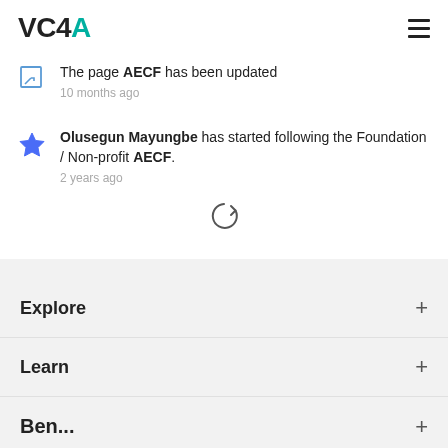VC4A
The page AECF has been updated
10 months ago
Olusegun Mayungbe has started following the Foundation / Non-profit AECF.
2 years ago
Explore
Learn
Ben...